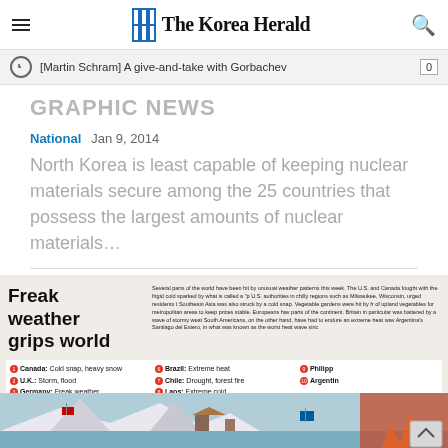The Korea Herald
[Martin Schram] A give-and-take with Gorbachev
GRAPHIC NEWS
National   Jan 9, 2014
North Korea is least capable of keeping nuclear materials secure among the 25 countries that possess the largest amounts of nuclear materials…
[Figure (infographic): Infographic titled 'Freak weather grips world' showing a world map with countries affected by extreme weather events including cold snaps, storms, floods, extreme heat, drought, and forest fires. Countries listed: Canada (Cold snap, heavy snow), U.K. (Storm, flood), Germany (Freak weather), U.S. (Cold snap, heavy snow), Sweden (Flood), Brazil (Extreme heat), Chile (Drought, forest fire), Laos (Extreme cold), Philippines, Argentina.]